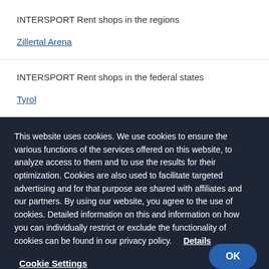INTERSPORT Rent shops in the regions
Zillertal Arena
INTERSPORT Rent shops in the federal states
Tyrol
This website uses cookies. We use cookies to ensure the various functions of the services offered on this website, to analyze access to them and to use the results for their optimization. Cookies are also used to facilitate targeted advertising and for that purpose are shared with affiliates and our partners. By using our website, you agree to the use of cookies. Detailed information on this and information on how you can individually restrict or exclude the functionality of cookies can be found in our privacy policy.    Details
Cookie Settings
OK